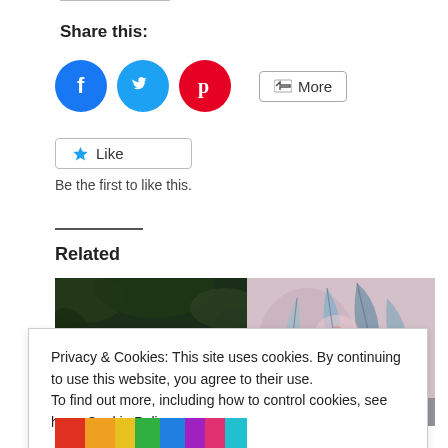Share this:
[Figure (infographic): Social sharing buttons: Facebook (blue circle), Twitter (teal circle), Pinterest (red circle), and a More button]
[Figure (infographic): Like button with star icon]
Be the first to like this.
Related
[Figure (photo): Two related article thumbnail images: left shows a leopard in jungle foliage at night, right shows colorful abstract/tropical leaf art]
Privacy & Cookies: This site uses cookies. By continuing to use this website, you agree to their use.
To find out more, including how to control cookies, see here: Cookie Policy
[Figure (photo): Partial bottom thumbnail image showing colorful street art or abstract painting]